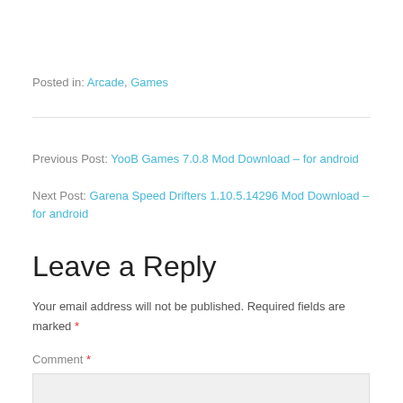Posted in: Arcade, Games
Previous Post: YooB Games 7.0.8 Mod Download – for android
Next Post: Garena Speed Drifters 1.10.5.14296 Mod Download – for android
Leave a Reply
Your email address will not be published. Required fields are marked *
Comment *